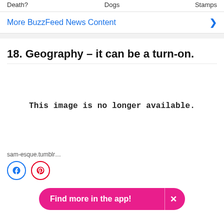Death?   Dogs   Stamps
More BuzzFeed News Content
18. Geography – it can be a turn-on.
[Figure (other): This image is no longer available.]
sam-esque.tumblr...
Find more in the app!